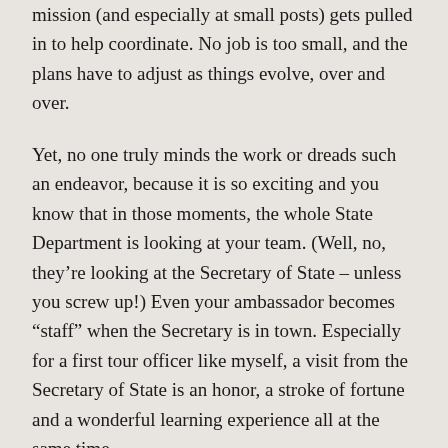mission (and especially at small posts) gets pulled in to help coordinate. No job is too small, and the plans have to adjust as things evolve, over and over.

Yet, no one truly minds the work or dreads such an endeavor, because it is so exciting and you know that in those moments, the whole State Department is looking at your team. (Well, no, they’re looking at the Secretary of State – unless you screw up!) Even your ambassador becomes “staff” when the Secretary is in town. Especially for a first tour officer like myself, a visit from the Secretary of State is an honor, a stroke of fortune and a wonderful learning experience all at the same time.

So when we at the embassy heard that the Secretary might be coming to Uzbekistan, no one knew for sure when, or for sure if. So we tried not to get our hopes up too high. Then unfortunately he broke his leg during the late spring